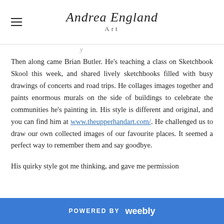Andrea England Art
Then along came Brian Butler. He's teaching a class on Sketchbook Skool this week, and shared lively sketchbooks filled with busy drawings of concerts and road trips. He collages images together and paints enormous murals on the side of buildings to celebrate the communities he's painting in. His style is different and original, and you can find him at www.theupperhandart.com/. He challenged us to draw our own collected images of our favourite places. It seemed a perfect way to remember them and say goodbye.
His quirky style got me thinking, and gave me permission to...
POWERED BY weebly